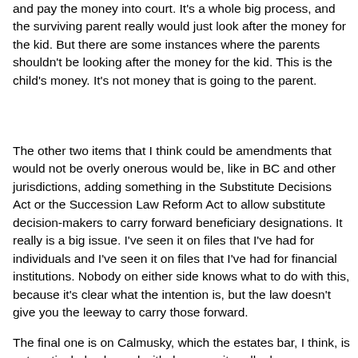and pay the money into court. It's a whole big process, and the surviving parent really would just look after the money for the kid. But there are some instances where the parents shouldn't be looking after the money for the kid. This is the child's money. It's not money that is going to the parent.
The other two items that I think could be amendments that would not be overly onerous would be, like in BC and other jurisdictions, adding something in the Substitute Decisions Act or the Succession Law Reform Act to allow substitute decision-makers to carry forward beneficiary designations. It really is a big issue. I've seen it on files that I've had for individuals and I've seen it on files that I've had for financial institutions. Nobody on either side knows what to do with this, because it's clear what the intention is, but the law doesn't give you the leeway to carry those forward.
The final one is on Calmusky, which the estates bar, I think, is not particularly pleased with, because it really does open